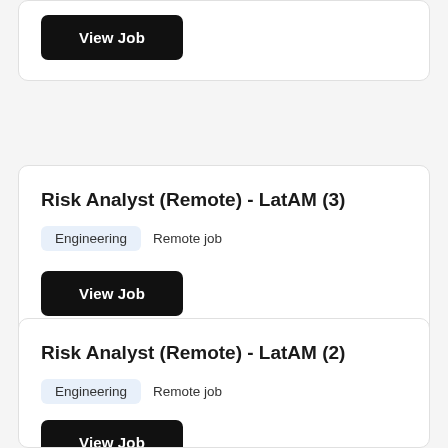View Job
Risk Analyst (Remote) - LatAM (3)
Engineering   Remote job
View Job
Risk Analyst (Remote) - LatAM (2)
Engineering   Remote job
View Job